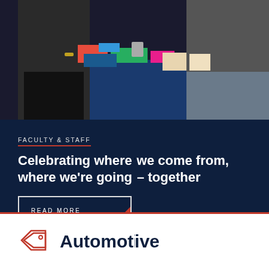[Figure (photo): Two people standing at a merchandise/information table with a blue tablecloth, colorful items including hats and folders, and informational signage in the background.]
FACULTY & STAFF
Celebrating where we come from, where we're going – together
READ MORE
Automotive